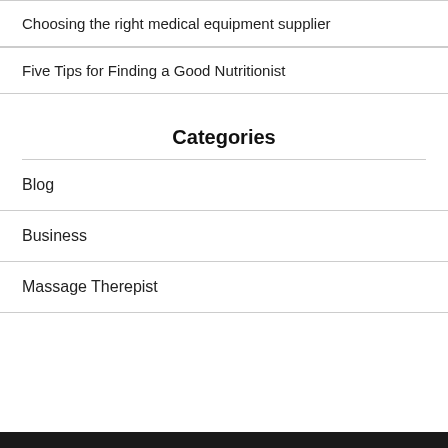Choosing the right medical equipment supplier
Five Tips for Finding a Good Nutritionist
Categories
Blog
Business
Massage Therepist